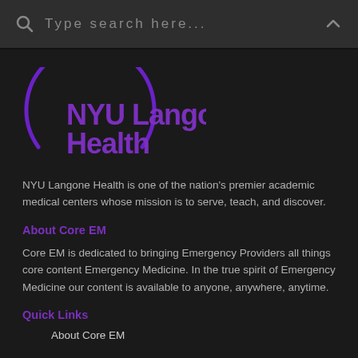Type search here...
[Figure (logo): NYU Langone Health logo with purple arc and bold purple text]
NYU Langone Health is one of the nation's premier academic medical centers whose mission is to serve, teach, and discover.
About Core EM
Core EM is dedicated to bringing Emergency Providers all things core content Emergency Medicine. In the true spirit of Emergency Medicine our content is available to anyone, anywhere, anytime.
Quick Links
About Core EM